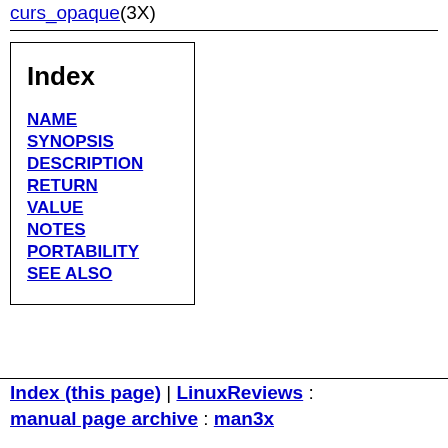curs_opaque(3X)
Index
NAME
SYNOPSIS
DESCRIPTION
RETURN
VALUE
NOTES
PORTABILITY
SEE ALSO
Index (this page) | LinuxReviews : manual page archive : man3x